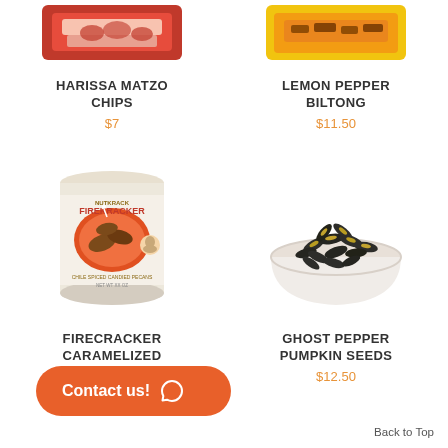[Figure (photo): Partial top image of Harissa Matzo Chips product]
HARISSA MATZO CHIPS
$7
[Figure (photo): Partial top image of Lemon Pepper Biltong product]
LEMON PEPPER BILTONG
$11.50
[Figure (photo): Tin can of Nutkrack Firekracker Chile Spiced Candied Pecans]
FIRECRACKER CARAMELIZED PECANS
$13 - $24.50
[Figure (photo): White bowl filled with Ghost Pepper Pumpkin Seeds]
GHOST PEPPER PUMPKIN SEEDS
$12.50
Contact us!
Back to Top